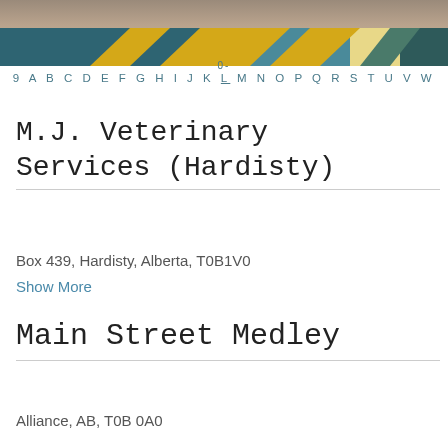[Figure (illustration): Top header banner with a decorative photo (blurred background of a person) and colored geometric strip with teal, yellow, dark teal, and cream segments]
0- 9 A B C D E F G H I J K L M N O P Q R S T U V W
M.J. Veterinary Services (Hardisty)
Box 439, Hardisty, Alberta, T0B1V0
Show More
Main Street Medley
Alliance, AB, T0B 0A0